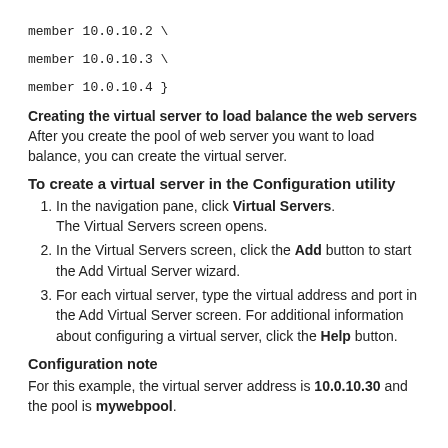member 10.0.10.2 \
member 10.0.10.3 \
member 10.0.10.4 }
Creating the virtual server to load balance the web servers
After you create the pool of web server you want to load balance, you can create the virtual server.
To create a virtual server in the Configuration utility
1. In the navigation pane, click Virtual Servers.
   The Virtual Servers screen opens.
2. In the Virtual Servers screen, click the Add button to start the Add Virtual Server wizard.
3. For each virtual server, type the virtual address and port in the Add Virtual Server screen. For additional information about configuring a virtual server, click the Help button.
Configuration note
For this example, the virtual server address is 10.0.10.30 and the pool is mywebpool.